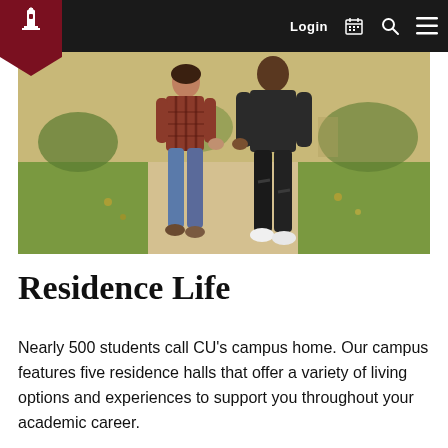Login
[Figure (photo): Two students walking together on a campus sidewalk, one wearing a red plaid shirt and jeans, the other in dark clothing with white sneakers. Green grass and trees visible in background.]
Residence Life
Nearly 500 students call CU's campus home. Our campus features five residence halls that offer a variety of living options and experiences to support you throughout your academic career.